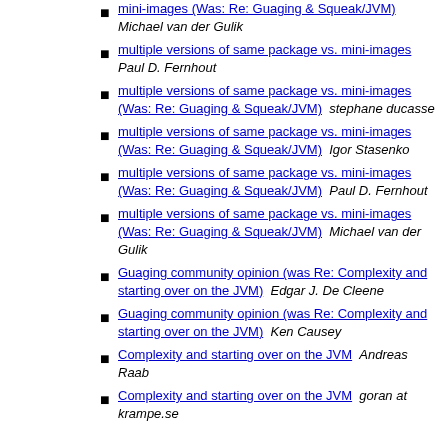mini-images (Was: Re: Guaging & Squeak/JVM)  Michael van der Gulik
multiple versions of same package vs. mini-images  Paul D. Fernhout
multiple versions of same package vs. mini-images (Was: Re: Guaging & Squeak/JVM)  stephane ducasse
multiple versions of same package vs. mini-images (Was: Re: Guaging & Squeak/JVM)  Igor Stasenko
multiple versions of same package vs. mini-images (Was: Re: Guaging & Squeak/JVM)  Paul D. Fernhout
multiple versions of same package vs. mini-images (Was: Re: Guaging & Squeak/JVM)  Michael van der Gulik
Guaging community opinion (was Re: Complexity and starting over on the JVM)  Edgar J. De Cleene
Guaging community opinion (was Re: Complexity and starting over on the JVM)  Ken Causey
Complexity and starting over on the JVM  Andreas Raab
Complexity and starting over on the JVM  goran at krampe.se